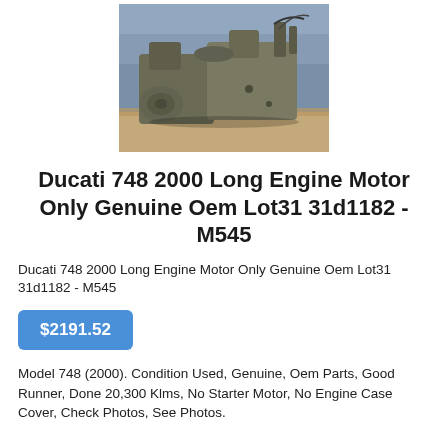[Figure (photo): Photo of a Ducati 748 2000 long engine motor on a workbench with blue cloth background]
Ducati 748 2000 Long Engine Motor Only Genuine Oem Lot31 31d1182 - M545
Ducati 748 2000 Long Engine Motor Only Genuine Oem Lot31 31d1182 - M545
$2191.52
Model 748 (2000). Condition Used, Genuine, Oem Parts, Good Runner, Done 20,300 Klms, No Starter Motor, No Engine Case Cover, Check Photos, See Photos.